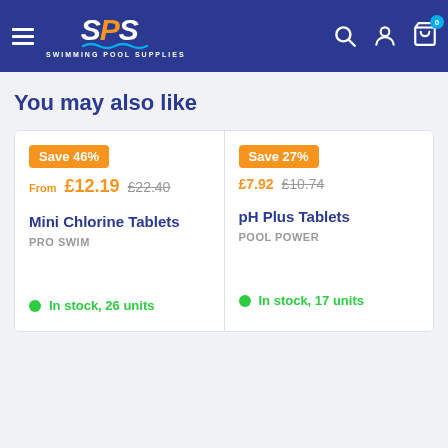[Figure (logo): SPS Swimming Pool Supplies logo with navigation header on dark blue background]
You may also like
Save 46% | From £12.19  £22.40 | Mini Chlorine Tablets | PRO SWIM | In stock, 26 units
Save 27% | £7.92  £10.74 | pH Plus Tablets | POOL POWER | In stock, 17 units